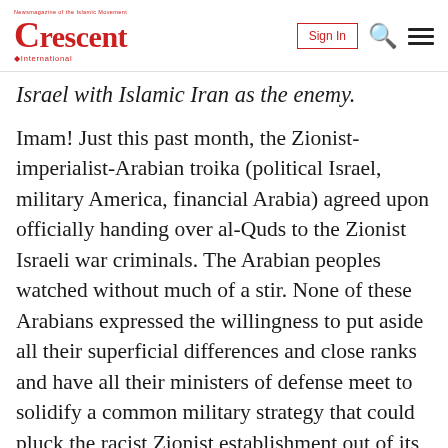Crescent International — Sign In [search] [menu]
Israel with Islamic Iran as the enemy.
Imam! Just this past month, the Zionist-imperialist-Arabian troika (political Israel, military America, financial Arabia) agreed upon officially handing over al-Quds to the Zionist Israeli war criminals. The Arabian peoples watched without much of a stir. None of these Arabians expressed the willingness to put aside all their superficial differences and close ranks and have all their ministers of defense meet to solidify a common military strategy that could pluck the racist Zionist establishment out of its